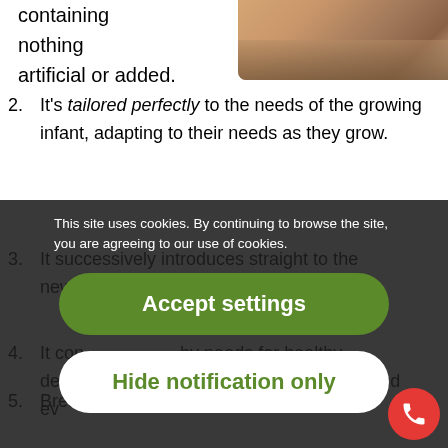[Figure (photo): Photo of a baby or infant in upper right corner]
containing nothing artificial or added.
2. It's tailored perfectly to the needs of the growing infant, adapting to their needs as they grow.
3. It successively introduces straight to the newborn...
4. It contains baby needs for healthy development, including all the s and ev...
5. Breast milk also contains long-chain polyunsaturated fatty acids, which are
This site uses cookies. By continuing to browse the site, you are agreeing to our use of cookies.
Accept settings
Hide notification only